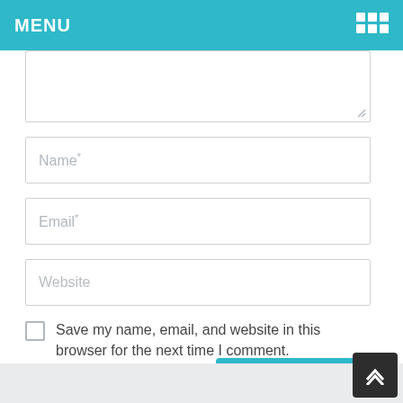MENU
[Figure (screenshot): Textarea input field (partially visible, cropped at top)]
Name*
Email*
Website
Save my name, email, and website in this browser for the next time I comment.
Post Comment